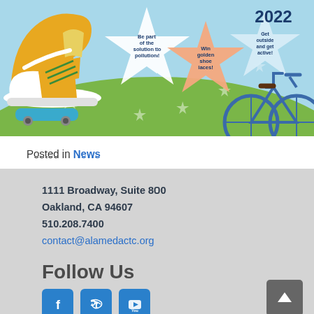[Figure (illustration): Illustrated banner for 2022 showing a yellow sneaker, skateboard, bicycle, star-shaped speech bubbles with slogans ('Be part of the solution to pollution!', 'Win golden shoe laces!', 'Get outside and get active!') against a blue sky and green hill background. Year '2022' appears in top right corner.]
Posted in News
1111 Broadway, Suite 800
Oakland, CA 94607
510.208.7400
contact@alamedactc.org
Follow Us